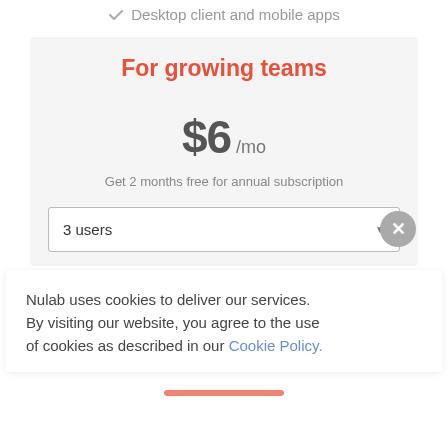Desktop client and mobile apps
For growing teams
$6 /mo
Get 2 months free for annual subscription
3 users
Nulab uses cookies to deliver our services. By visiting our website, you agree to the use of cookies as described in our Cookie Policy.